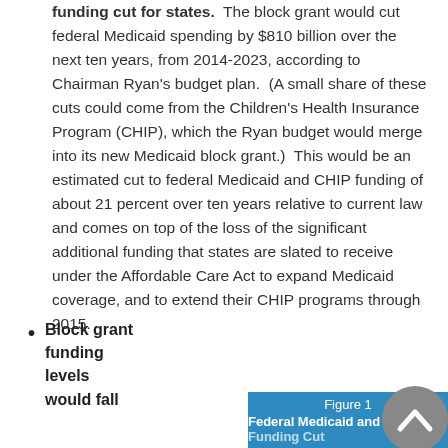funding cut for states. The block grant would cut federal Medicaid spending by $810 billion over the next ten years, from 2014-2023, according to Chairman Ryan's budget plan. (A small share of these cuts could come from the Children's Health Insurance Program (CHIP), which the Ryan budget would merge into its new Medicaid block grant.) This would be an estimated cut to federal Medicaid and CHIP funding of about 21 percent over ten years relative to current law and comes on top of the loss of the significant additional funding that states are slated to receive under the Affordable Care Act to expand Medicaid coverage, and to extend their CHIP programs through 2015.
Block grant funding levels would fall
[Figure (other): Figure 1 - Federal Medicaid and CHIP Funding Cut header bar (partially visible)]